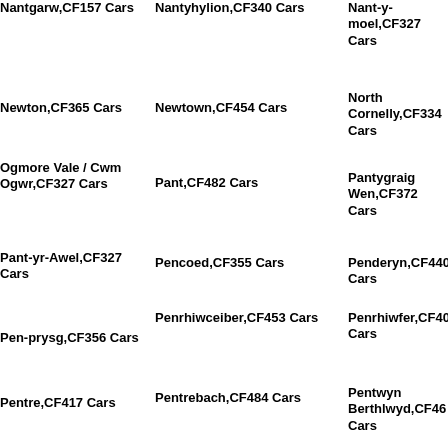Nantgarw,CF157 Cars
Nantyhylion,CF340 Cars
Nant-y-moel,CF327 Cars
Newton,CF365 Cars
Newtown,CF454 Cars
North Cornelly,CF334 Cars
Ogmore Vale / Cwm Ogwr,CF327 Cars
Pant,CF482 Cars
Pantygraig Wen,CF372 Cars
Pant-yr-Awel,CF327 Cars
Pencoed,CF355 Cars
Penderyn,CF440 Cars
Pen-prysg,CF356 Cars
Penrhiwceiber,CF453 Cars
Penrhiwfer,CF401 Cars
Pentre,CF417 Cars
Pentrebach,CF484 Cars
Pentwyn Berthlwyd,CF46 Cars
Pen-y-coedcae,CF371 Cars
Pen-y-Darren,CF479 Cars
Penygraigwen,CF372 Cars
Pen-yr-englyn,CF425 Cars
Pen-y-rhiw,CF371 Cars
Penywaun,CF449 Cars
Pontbren Llwyd,CF449 Cars
Pontcynon,CF454 Cars
Pont-Sion-Norton,CF374 Cars
Pontsticill,CF482 Cars
Pontyclun,CF729 Cars
Pontygwaith,CF433